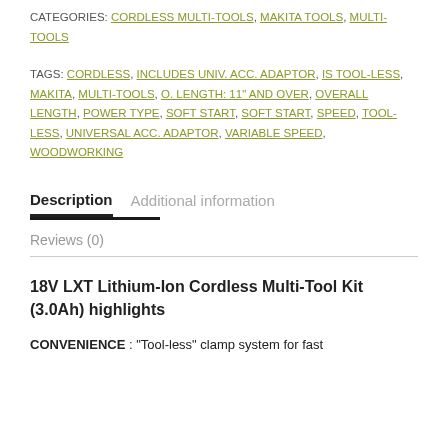CATEGORIES: CORDLESS MULTI-TOOLS, MAKITA TOOLS, MULTI-TOOLS
TAGS: CORDLESS, INCLUDES UNIV. ACC. ADAPTOR, IS TOOL-LESS, MAKITA, MULTI-TOOLS, O. LENGTH: 11" AND OVER, OVERALL LENGTH, POWER TYPE, SOFT START, SOFT START, SPEED, TOOL-LESS, UNIVERSAL ACC. ADAPTOR, VARIABLE SPEED, WOODWORKING
Description
Additional information
Reviews (0)
18V LXT Lithium-Ion Cordless Multi-Tool Kit (3.0Ah) highlights
CONVENIENCE: “Tool-less” clamp system for fast